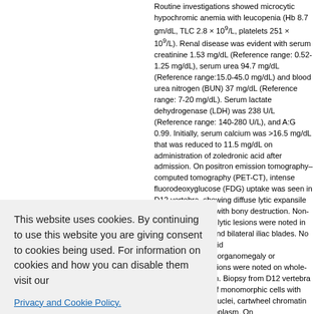Routine investigations showed microcytic hypochromic anemia with leucopenia (Hb 8.7 gm/dL, TLC 2.8 × 10⁹/L, platelets 251 × 10⁹/L). Renal disease was evident with serum creatinine 1.53 mg/dL (Reference range: 0.52-1.25 mg/dL), serum urea 94.7 mg/dL (Reference range:15.0-45.0 mg/dL) and blood urea nitrogen (BUN) 37 mg/dL (Reference range: 7-20 mg/dL). Serum lactate dehydrogenase (LDH) was 238 U/L (Reference range: 140-280 U/L), and A:G 0.99. Initially, serum calcium was >16.5 mg/dL that was reduced to 11.5 mg/dL on administration of zoledronic acid after admission. On positron emission tomography–computed tomography (PET-CT), intense fluorodeoxyglucose (FDG) uptake was seen in D12 vertebra, showing diffuse lytic expansile lesion associated with bony destruction. Non-FDG avid multiple lytic lesions were noted in calvarium, spine and bilateral iliac blades. No significant FDG avid lymphadenopathy/organomegaly or extramedullary lesions were noted on whole-body PET-CT scan. Biopsy from D12 vertebra exhibited sheets of monomorphic cells with single prominent nuclei, cartwheel chromatin and moderate cytoplasm. On immunohistochemistry (IHC), these cells were positive for CD20, CD138, CD56 and MUM1. Ki-67 proliferation
This website uses cookies. By continuing to use this website you are giving consent to cookies being used. For information on cookies and how you can disable them visit our
Privacy and Cookie Policy.
AGREE & PROCEED